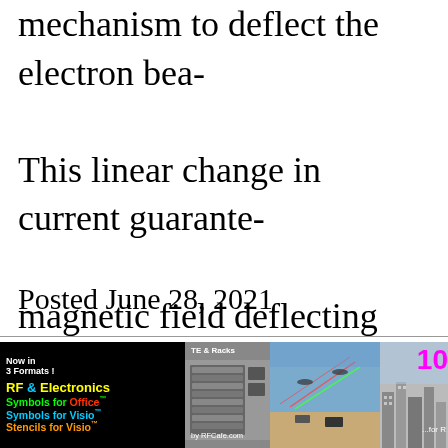mechanism to deflect the electron bea... This linear change in current guarante... magnetic field deflecting the electron...
Posted June 28, 2021
[Figure (illustration): RF & Electronics advertisement banner for RFCafe.com showing product names: RF & Electronics Symbols for Office, Symbols for Visio, Stencils for Visio. Now in 3 Formats. Right side shows TE & Racks, System Concept diagrams, and a city skyline with '10 ...for R' text in magenta.]